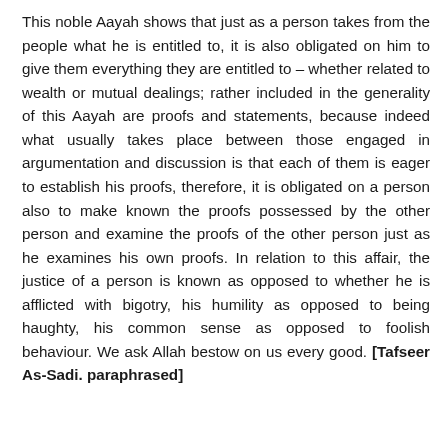This noble Aayah shows that just as a person takes from the people what he is entitled to, it is also obligated on him to give them everything they are entitled to – whether related to wealth or mutual dealings; rather included in the generality of this Aayah are proofs and statements, because indeed what usually takes place between those engaged in argumentation and discussion is that each of them is eager to establish his proofs, therefore, it is obligated on a person also to make known the proofs possessed by the other person and examine the proofs of the other person just as he examines his own proofs. In relation to this affair, the justice of a person is known as opposed to whether he is afflicted with bigotry, his humility as opposed to being haughty, his common sense as opposed to foolish behaviour. We ask Allah bestow on us every good. [Tafseer As-Sadi. paraphrased]